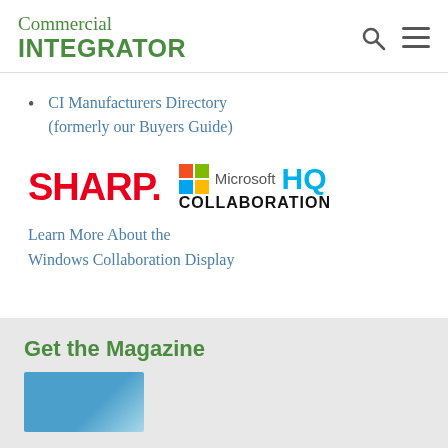Commercial INTEGRATOR
CI Manufacturers Directory (formerly our Buyers Guide)
[Figure (logo): Sharp and Microsoft HQ Collaboration co-branded advertisement logo]
Learn More About the Windows Collaboration Display
Get the Magazine
[Figure (photo): Partially visible magazine thumbnail image]